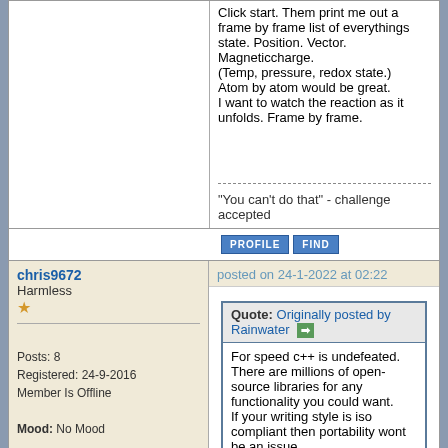Click start. Them print me out a frame by frame list of everythings state. Position. Vector. Magneticcharge.
(Temp, pressure, redox state.)
Atom by atom would be great.
I want to watch the reaction as it unfolds. Frame by frame.
"You can't do that" - challenge accepted
chris9672
Harmless
Posts: 8
Registered: 24-9-2016
Member Is Offline
Mood: No Mood
posted on 24-1-2022 at 02:22
Quote: Originally posted by Rainwater
For speed c++ is undefeated. There are millions of open-source libraries for any functionality you could want.
If your writing style is iso compliant then portability wont be an issue.

My feature request would me a step by step reaction trace.
Step 0)100 molecules of pure h2o(s)
Step 1) 100 molecules of Na(s)